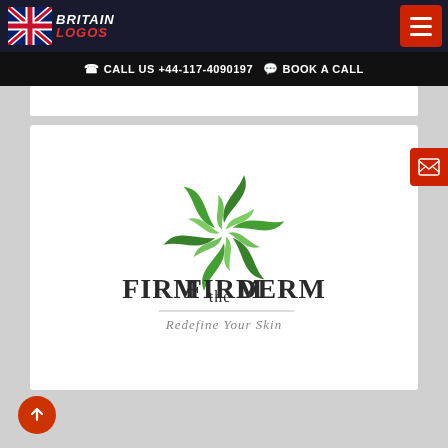Britain Logos — CALL US +44-117-4090197  BOOK A CALL
[Figure (logo): Firm the Derm logo — green swirling leaf pinwheel icon above the text 'FIRM the DERM' with tagline 'Redefine Your Skin']